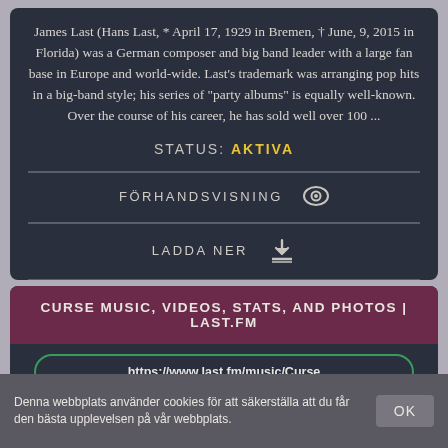James Last (Hans Last, * April 17, 1929 in Bremen, † June, 9, 2015 in Florida) was a German composer and big band leader with a large fan base in Europe and world-wide. Last's trademark was arranging pop hits in a big-band style; his series of "party albums" is equally well-known. Over the course of his career, he has sold well over 100 ...
STATUS: AKTIVA
FÖRHANDSVISNING
LADDA NER
CURSE MUSIC, VIDEOS, STATS, AND PHOTOS | LAST.FM
https://www.last.fm/music/Curse
There are several artists and bands with name Curse 1) Curse (born 6 September 1978 as Michael S. Kurth) is a German rapper from Minden. The
Denna webbplats använder cookies för att säkerställa att du får den bästa upplevelsen på vår webbplats.